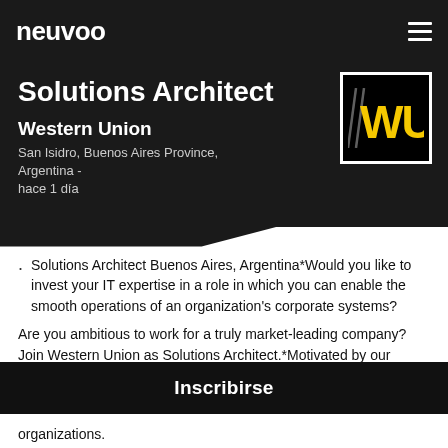neuvoo
Solutions Architect
Western Union
San Isidro, Buenos Aires Province, Argentina - hace 1 día
[Figure (logo): Western Union WU logo — black square with yellow WU letters and diagonal stripes]
Solutions Architect Buenos Aires, Argentina*Would you like to invest your IT expertise in a role in which you can enable the smooth operations of an organization's corporate systems?
Are you ambitious to work for a truly market-leading company? Join Western Union as Solutions Architect.*Motivated by our values : purpose driven, globally minded, and trustworthy & respectful*We're a
organizations.